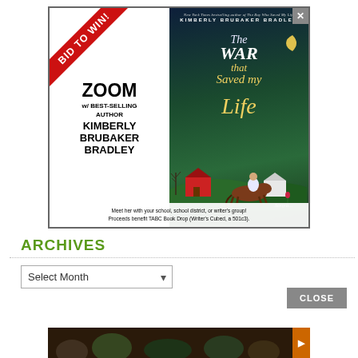[Figure (illustration): Advertisement banner for a Zoom event with best-selling author Kimberly Brubaker Bradley, showing the book cover of 'The War that Saved my Life'. Left side has a red diagonal 'BID TO WIN!' ribbon, text about zooming with the author. Right side shows the book cover with a child on horseback against a night-sky background.]
ARCHIVES
Select Month
[Figure (photo): Partial bottom advertisement strip showing dark food/nature imagery]